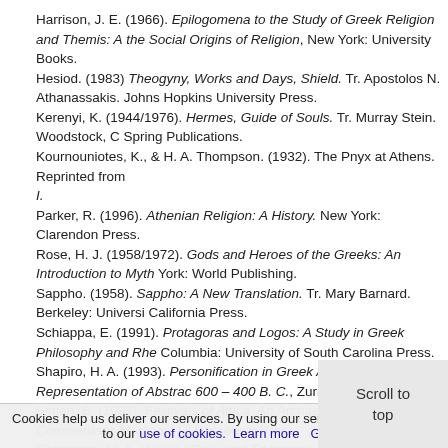Harrison, J. E. (1966). Epilogomena to the Study of Greek Religion and Themis: A Study in the Social Origins of Religion, New York: University Books.
Hesiod. (1983) Theogyny, Works and Days, Shield. Tr. Apostolos N. Athanassakis. Johns Hopkins University Press.
Kerenyi, K. (1944/1976). Hermes, Guide of Souls. Tr. Murray Stein. Woodstock, CT: Spring Publications.
Kournouniotes, K., & H. A. Thompson. (1932). The Pnyx at Athens. Reprinted from Hesperia I.
Parker, R. (1996). Athenian Religion: A History. New York: Clarendon Press.
Rose, H. J. (1958/1972). Gods and Heroes of the Greeks: An Introduction to Mythology. New York: World Publishing.
Sappho. (1958). Sappho: A New Translation. Tr. Mary Barnard. Berkeley: University of California Press.
Schiappa, E. (1991). Protagoras and Logos: A Study in Greek Philosophy and Rhetoric. Columbia: University of South Carolina Press.
Shapiro, H. A. (1993). Personification in Greek Art: The Representation of Abstract Concepts 600 – 400 B. C., Zurich: Akanthus.
Simon, E. (1983). Festivals of Attica: An Archaeological Commentary. Madison: University of Wisconsin Press.
Thompson, H. A. (1936). "Pnyx and Thesmophoria." Hesperia 5.
Tyrell, W. B., & F. S. Brown. (1991). Athenian Myths and Institutions.
Cookies help us deliver our services. By using our services, you agree to our use of cookies. Learn more   Got it